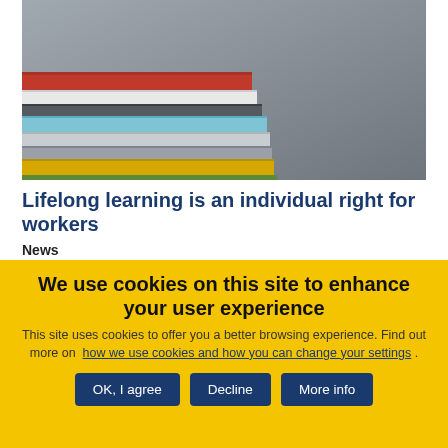[Figure (photo): Stack of colorful books photographed from close up against a gray background. Books are stacked horizontally with spines of various colors: red, white, gray, light blue, white/gray, yellow, visible.]
Lifelong learning is an individual right for workers
News
We use cookies on this site to enhance your user experience
This site uses cookies to offer you a better browsing experience. Find out more on how we use cookies and how you can change your settings .
OK, I agree | Decline | More info